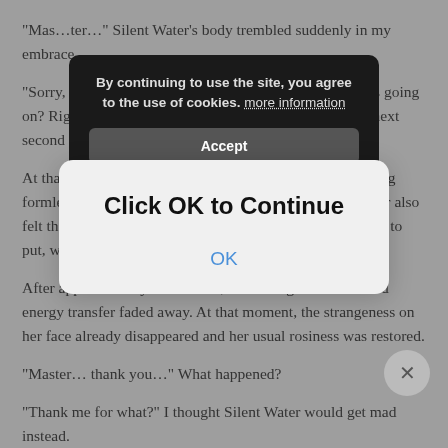“Mas…ter…” Silent Water’s body trembled suddenly in my embrace.
“Sorry, I don’t know… what that was. I don’t know what’s going on? Right after having the urge to hug you, and then the next second I suddenly embraced Silent Water.
At that moment, I could feel that inside my body, something formless was flowing into Silent Water’s body. Silent Water also felt that her hands, which she originally didn’t know where to put, were now tightly embracing my waist.
After approximately 10 seconds, the feeling that resembled energy transfer faded away. At that moment, the strangeness on her face already disappeared and her usual rosiness was restored.
“Master… thank you…” What happened?
“Thank me for what?” I thought Silent Water would get mad instead.
“Thank you, your… formidable magic power… giving a bit of it to me…”
[Figure (screenshot): Cookie consent banner overlay with dark background reading 'By continuing to use the site, you agree to the use of cookies. more information' and an Accept button.]
[Figure (screenshot): Modal dialog overlay with light gray background reading 'Click OK to Continue' in bold with a blue 'OK' button below.]